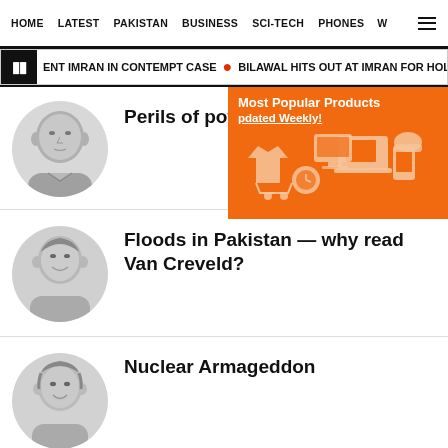HOME  LATEST  PAKISTAN  BUSINESS  SCI-TECH  PHONES  W
ENT IMRAN IN CONTEMPT CASE  ●  BILAWAL HITS OUT AT IMRAN FOR HOLDING PU
Perils of powe
[Figure (photo): Grayscale headshot of an older bald man]
[Figure (infographic): Orange advertisement banner: Most Popular Products Updated Weekly! with product icons]
Floods in Pakistan — why read Van Creveld?
[Figure (photo): Grayscale headshot of a smiling man]
Nuclear Armageddon
[Figure (photo): Grayscale headshot of a young man smiling]